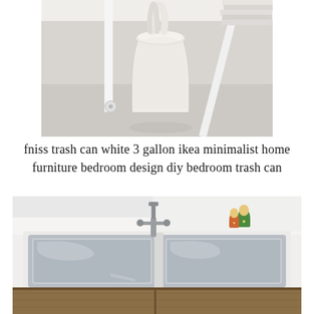[Figure (photo): White minimalist trash can (IKEA FNISS) sitting on a light gray floor beneath a white desk with wheels, with stacked magazines visible in the upper right corner.]
fniss trash can white 3 gallon ikea minimalist home furniture bedroom design diy bedroom trash can
[Figure (photo): Double stainless steel kitchen sink set in a white countertop, with a modern stainless faucet and small decorative Russian matryoshka dolls in the upper right corner, wood-grain cabinet doors visible below.]